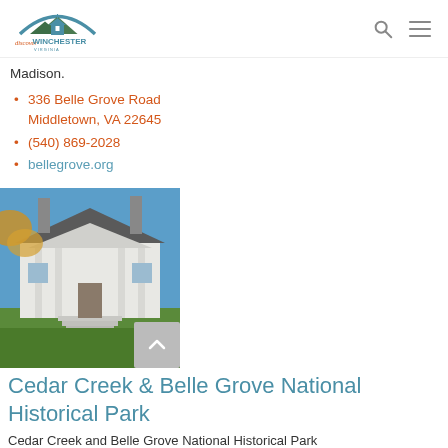Discover Winchester Virginia
Madison.
336 Belle Grove Road
Middletown, VA 22645
(540) 869-2028
bellegrove.org
[Figure (photo): Exterior photo of Belle Grove Plantation, a white colonial-style mansion with columns, chimneys, and green lawn, under a clear blue sky with autumn foliage in foreground]
Cedar Creek & Belle Grove National Historical Park
Cedar Creek and Belle Grove National Historical Park